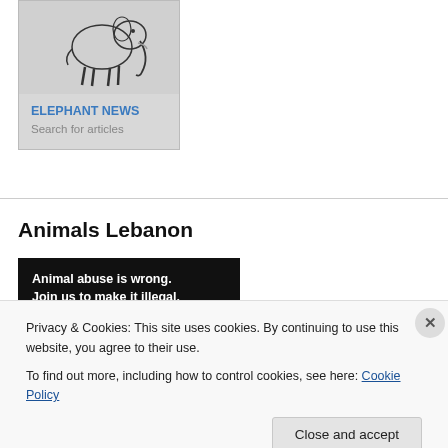[Figure (illustration): Elephant News card with a black-and-white illustration of an elephant at the top, a colored title 'ELEPHANT NEWS' and subtitle 'Search for articles']
ELEPHANT NEWS
Search for articles
Animals Lebanon
[Figure (photo): Dark image with text 'Animal abuse is wrong. Join us to make it illegal.' overlaid on a photo of an animal behind bars]
Privacy & Cookies: This site uses cookies. By continuing to use this website, you agree to their use.
To find out more, including how to control cookies, see here: Cookie Policy
Close and accept